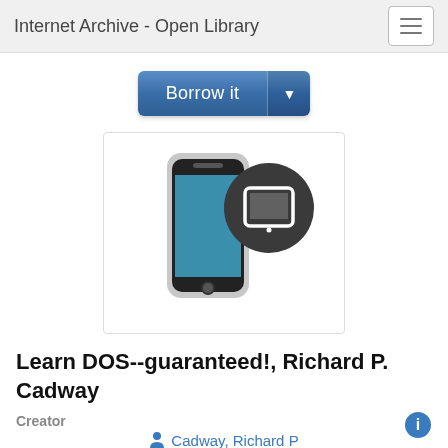Internet Archive - Open Library
[Figure (screenshot): Borrow it button with dropdown arrow, blue gradient styling]
[Figure (illustration): Smartphone icon with a tablet/iPad icon badge overlay on dark circle background]
Learn DOS--guaranteed!, Richard P. Cadway
Creator
Cadway, Richard P